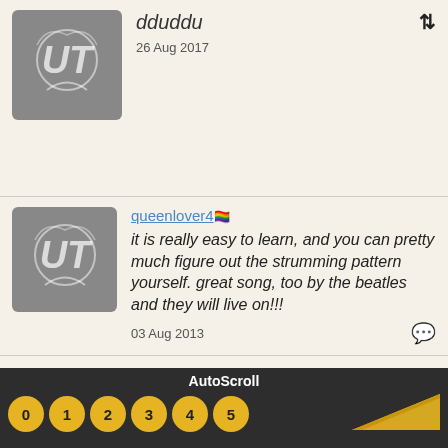dduddu
26 Aug 2017
queenlover4
it is really easy to learn, and you can pretty much figure out the strumming pattern yourself. great song, too by the beatles and they will live on!!!
03 Aug 2013
→ SONGS YOU MIGHT LIKE
1. Imagine
[ John Lennon ]
2. Somewhere Over The Rainbow 🔥
[ Israel Kamakawiwo'ole ]
3. Can't Help Falling In Love With You 🔥
AutoScroll
0 1 2 3 4 5